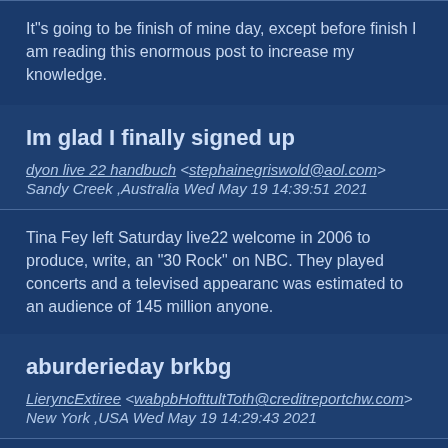It"s going to be finish of mine day, except before finish I am reading this enormous post to increase my knowledge.
Im glad I finally signed up
dyon live 22 handbuch <stephainegriswold@aol.com> Sandy Creek ,Australia Wed May 19 14:39:51 2021
Tina Fey left Saturday live22 welcome in 2006 to produce, write, and "30 Rock" on NBC. They played concerts and a televised appearance was estimated to an audience of 145 million anyone.
aburderieday brkbg
LieryncExtiree <wabpbHofttultToth@creditreportchw.com> New York ,USA Wed May 19 14:29:43 2021
help with writing a paper https://paperwriterkjd.com/ - college essay essaywriter writing an essay how to write an essay